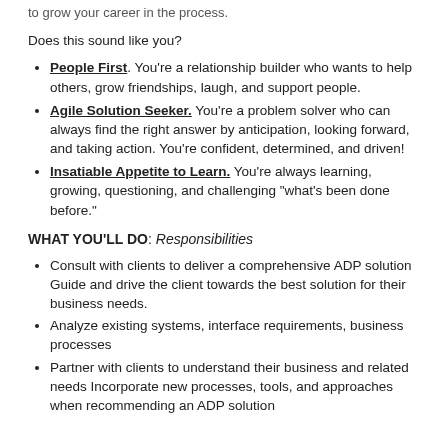to grow your career in the process.
Does this sound like you?
People First. You're a relationship builder who wants to help others, grow friendships, laugh, and support people.
Agile Solution Seeker. You're a problem solver who can always find the right answer by anticipation, looking forward, and taking action. You're confident, determined, and driven!
Insatiable Appetite to Learn. You're always learning, growing, questioning, and challenging "what's been done before."
WHAT YOU'LL DO: Responsibilities
Consult with clients to deliver a comprehensive ADP solution Guide and drive the client towards the best solution for their business needs.
Analyze existing systems, interface requirements, business processes
Partner with clients to understand their business and related needs Incorporate new processes, tools, and approaches when recommending an ADP solution